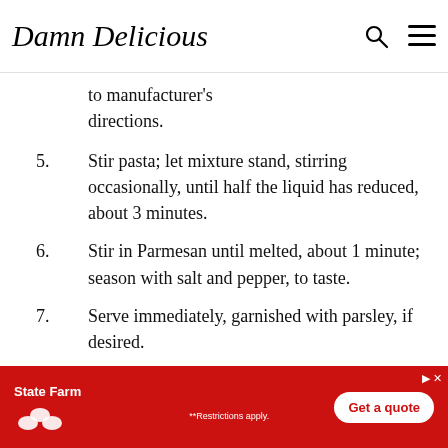Damn Delicious
to manufacturer's directions.
5. Stir pasta; let mixture stand, stirring occasionally, until half the liquid has reduced, about 3 minutes.
6. Stir in Parmesan until melted, about 1 minute; season with salt and pepper, to taste.
7. Serve immediately, garnished with parsley, if desired.
[Figure (infographic): State Farm advertisement banner with red background, State Farm logo, and 'Get a quote' button. Text says '**Restrictions apply.']